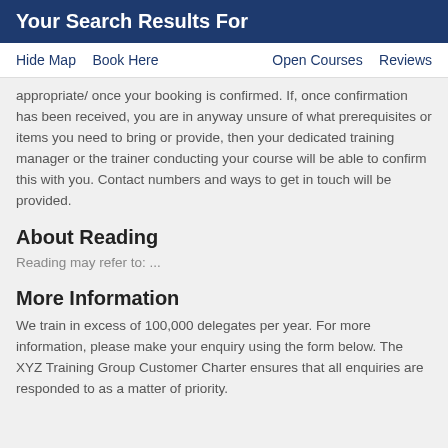Your Search Results For
Hide Map  Book Here  Open Courses  Reviews
appropriate/ once your booking is confirmed. If, once confirmation has been received, you are in anyway unsure of what prerequisites or items you need to bring or provide, then your dedicated training manager or the trainer conducting your course will be able to confirm this with you. Contact numbers and ways to get in touch will be provided.
About Reading
Reading may refer to: ...
More Information
We train in excess of 100,000 delegates per year. For more information, please make your enquiry using the form below. The XYZ Training Group Customer Charter ensures that all enquiries are responded to as a matter of priority.